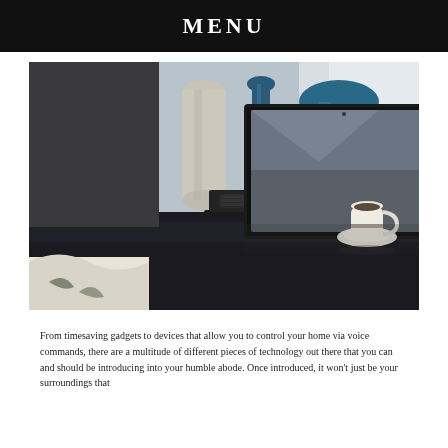MENU
[Figure (photo): A laptop open on a dark reflective table surface, with decorative blue and white ceramic vases behind it, and a white tea cup and saucer to the right. Light curtains are visible in the background.]
From timesaving gadgets to devices that allow you to control your home via voice commands, there are a multitude of different pieces of technology out there that you can and should be introducing into your humble abode. Once introduced, it won't just be your surroundings that